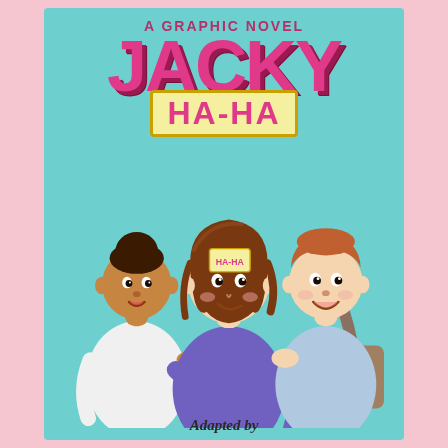[Figure (illustration): Book cover of 'Jacky Ha-Ha: A Graphic Novel'. Teal/turquoise background. Top text reads 'A GRAPHIC NOVEL' in bold pink letters, then 'JACKY' in large pink bubble letters with dark shadow, then 'HA-HA' in a yellow rectangular label with pink letters. Below the title are three cartoon children: a Black girl with a bun on the left wearing a white top, a white girl with brown bob hair in the center wearing a purple shirt with a sticky note 'HA-HA' on her forehead, and a white boy with reddish-brown hair on the right wearing a light blue shirt and carrying a backpack. At the bottom: 'Adapted by' in italic text.]